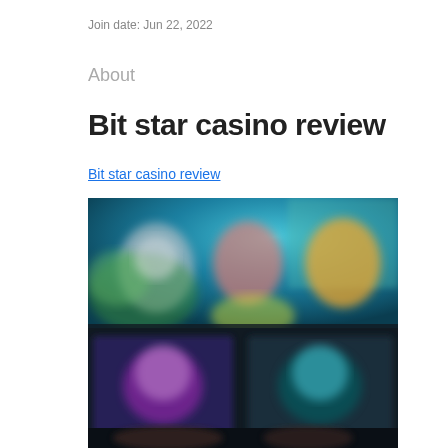Join date: Jun 22, 2022
About
Bit star casino review
Bit star casino review
[Figure (screenshot): A blurred screenshot of a casino website showing colorful game thumbnails and character images on a dark background with teal/blue tones.]